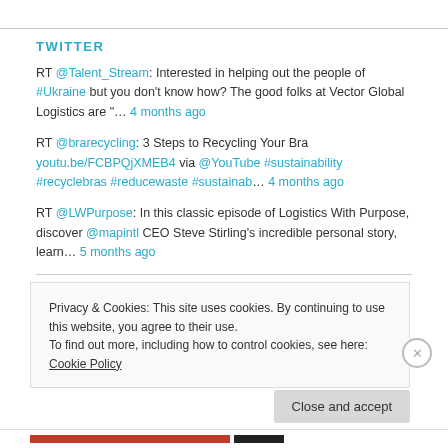TWITTER
RT @Talent_Stream: Interested in helping out the people of #Ukraine but you don't know how? The good folks at Vector Global Logistics are "… 4 months ago
RT @brarecycling: 3 Steps to Recycling Your Bra youtu.be/FCBPQjXMEB4 via @YouTube #sustainability #recyclebras #reducewaste #sustainab… 4 months ago
RT @LWPurpose: In this classic episode of Logistics With Purpose, discover @mapintl CEO Steve Stirling's incredible personal story, learn… 5 months ago
Privacy & Cookies: This site uses cookies. By continuing to use this website, you agree to their use.
To find out more, including how to control cookies, see here: Cookie Policy
Close and accept